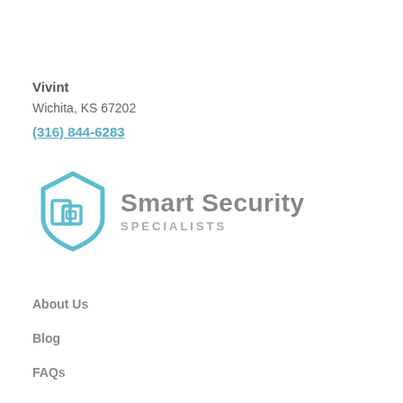Vivint
Wichita, KS 67202
(316) 844-6283
[Figure (logo): Smart Security Specialists logo with a teal/light blue shield icon and gray text reading 'Smart Security SPECIALISTS']
About Us
Blog
FAQs